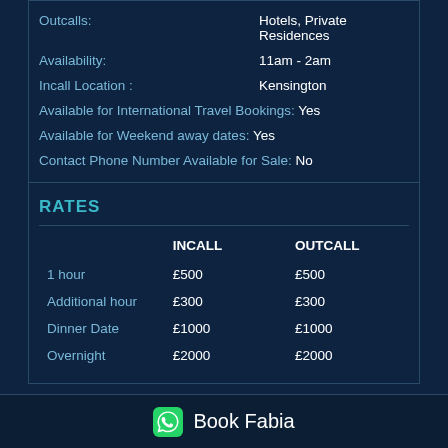Outcalls: Hotels, Private Residences
Availability: 11am - 2am
Incall Location : Kensington
Available for International Travel Bookings: Yes
Available for Weekend away dates: Yes
Contact Phone Number Available for Sale: No
RATES
|  | INCALL | OUTCALL |
| --- | --- | --- |
| 1 hour | £500 | £500 |
| Additional hour | £300 | £300 |
| Dinner Date | £1000 | £1000 |
| Overnight | £2000 | £2000 |
Book Fabia